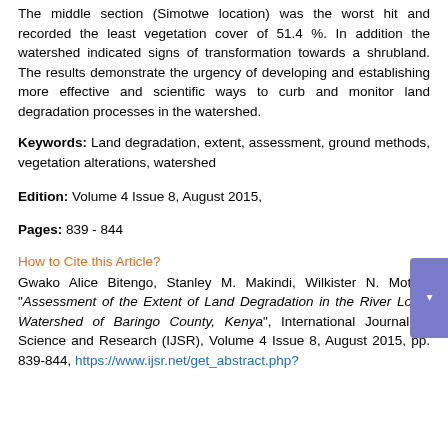The middle section (Simotwe location) was the worst hit and recorded the least vegetation cover of 51.4 %. In addition the watershed indicated signs of transformation towards a shrubland. The results demonstrate the urgency of developing and establishing more effective and scientific ways to curb and monitor land degradation processes in the watershed.
Keywords: Land degradation, extent, assessment, ground methods, vegetation alterations, watershed
Edition: Volume 4 Issue 8, August 2015,
Pages: 839 - 844
How to Cite this Article?
Gwako Alice Bitengo, Stanley M. Makindi, Wilkister N. Moturi, "Assessment of the Extent of Land Degradation in the River Loboi Watershed of Baringo County, Kenya", International Journal of Science and Research (IJSR), Volume 4 Issue 8, August 2015, pp. 839-844, https://www.ijsr.net/get_abstract.php?paper_id=SUB157403